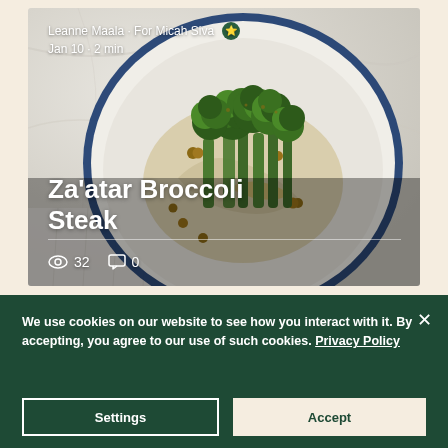[Figure (photo): Food blog card showing a white plate with blue rim containing roasted broccoli steak with hazelnuts and sauce on a marble surface. Card shows author 'Leanne Maala · For Micah Siva' with date 'Jan 10 · 2 min', title 'Za'atar Broccoli Steak', and stats showing 32 views and 0 comments.]
We use cookies on our website to see how you interact with it. By accepting, you agree to our use of such cookies. Privacy Policy
Settings
Accept